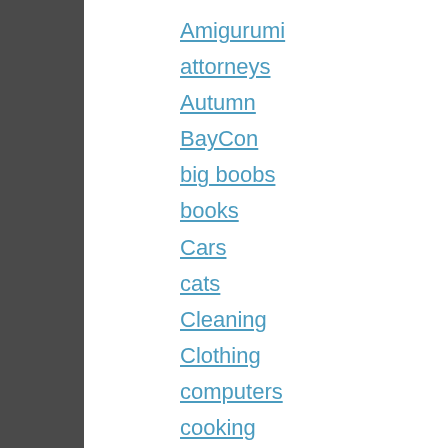Amigurumi
attorneys
Autumn
BayCon
big boobs
books
Cars
cats
Cleaning
Clothing
computers
cooking
crafts
Dentist
depression
Dikke Dame